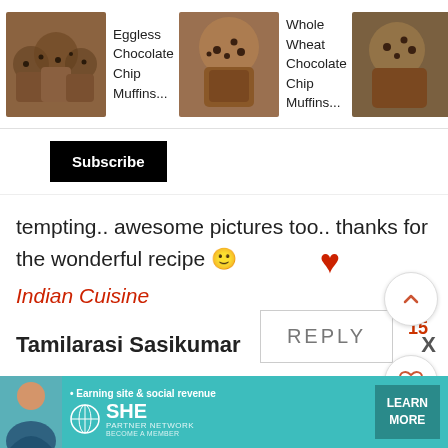[Figure (screenshot): Carousel of muffin recipe thumbnails with titles: Eggless Chocolate Chip Muffins..., Whole Wheat Chocolate Chip Muffins..., Banana Chocolate Chip Muffi...]
[Figure (screenshot): Black Subscribe button]
tempting.. awesome pictures too.. thanks for the wonderful recipe 🙂
Indian Cuisine
REPLY
Tamilarasi Sasikumar
[Figure (screenshot): Advertisement banner: SHE Partner Network - Earning site & social revenue - LEARN MORE - BECOME A MEMBER]